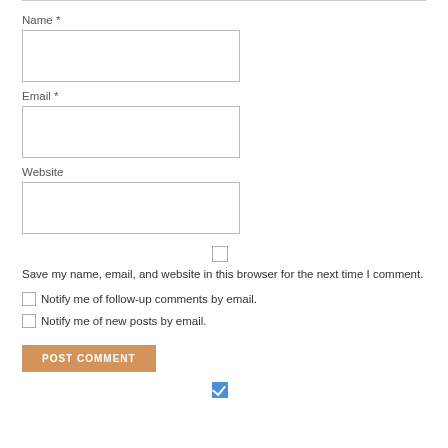Name *
[Figure (screenshot): Empty text input field for Name]
Email *
[Figure (screenshot): Empty text input field for Email]
Website
[Figure (screenshot): Empty text input field for Website]
[Figure (screenshot): Unchecked checkbox for save name/email/website]
Save my name, email, and website in this browser for the next time I comment.
Notify me of follow-up comments by email.
Notify me of new posts by email.
POST COMMENT
[Figure (screenshot): Checked blue checkbox at bottom of page]